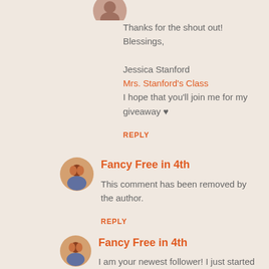[Figure (photo): Partial avatar image at top of page, cropped circle showing a person]
Thanks for the shout out! Blessings,

Jessica Stanford
Mrs. Stanford's Class
I hope that you'll join me for my giveaway ♥
REPLY
[Figure (photo): Circular avatar of a woman with red/orange hair]
Fancy Free in 4th
This comment has been removed by the author.
REPLY
[Figure (photo): Circular avatar of a woman with red/orange hair]
Fancy Free in 4th
I am your newest follower! I just started my blog last week and